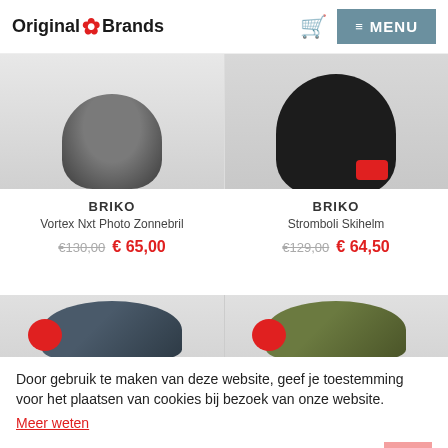Original Brands — MENU
[Figure (photo): Top half of two product cards. Left: partial view of BRIKO Vortex Nxt Photo Zonnebril sunglasses (grey/dark). Right: partial view of BRIKO Stromboli Skihelm helmet (black with red clasp).]
BRIKO
Vortex Nxt Photo Zonnebril
€130,00  € 65,00
BRIKO
Stromboli Skihelm
€129,00  € 64,50
[Figure (photo): Bottom portion of two product cards. Left: blue BRIKO helmet with red accent. Right: green/olive BRIKO helmet with red accent.]
Door gebruik te maken van deze website, geef je toestemming voor het plaatsen van cookies bij bezoek van onze website.
Meer weten
BEGREPEN